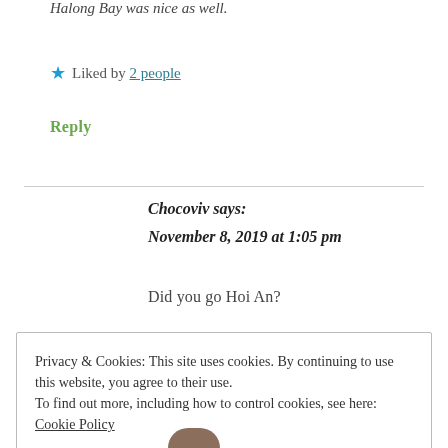Halong Bay was nice as well.
★ Liked by 2 people
Reply
Chocoviv says: November 8, 2019 at 1:05 pm
Did you go Hoi An?
Privacy & Cookies: This site uses cookies. By continuing to use this website, you agree to their use.
To find out more, including how to control cookies, see here: Cookie Policy
Close and accept